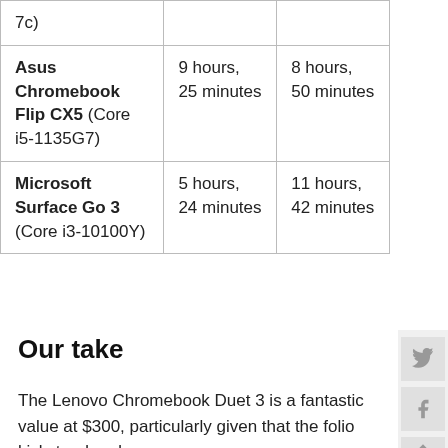| 7c) |  |  |
| Asus Chromebook Flip CX5 (Core i5-1135G7) | 9 hours, 25 minutes | 8 hours, 50 minutes |
| Microsoft Surface Go 3 (Core i3-10100Y) | 5 hours, 24 minutes | 11 hours, 42 minutes |
Our take
The Lenovo Chromebook Duet 3 is a fantastic value at $300, particularly given that the folio kickstand and